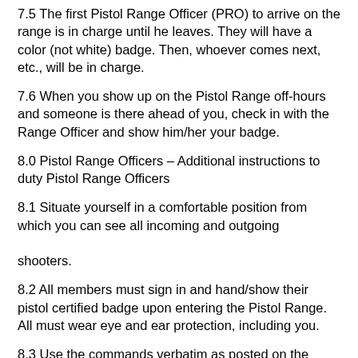7.5 The first Pistol Range Officer (PRO) to arrive on the range is in charge until he leaves. They will have a color (not white) badge. Then, whoever comes next, etc., will be in charge.
7.6 When you show up on the Pistol Range off-hours and someone is there ahead of you, check in with the Range Officer and show him/her your badge.
8.0 Pistol Range Officers – Additional instructions to duty Pistol Range Officers
8.1 Situate yourself in a comfortable position from which you can see all incoming and outgoing shooters.
8.2 All members must sign in and hand/show their pistol certified badge upon entering the Pistol Range.  All must wear eye and ear protection, including you.
8.3 Use the commands verbatim as posted on the range wall.